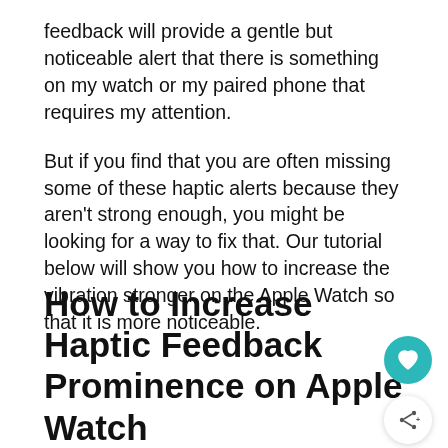feedback will provide a gentle but noticeable alert that there is something on my watch or my paired phone that requires my attention.
But if you find that you are often missing some of these haptic alerts because they aren't strong enough, you might be looking for a way to fix that. Our tutorial below will show you how to increase the vibration stronger on the Apple Watch so that it is more noticeable.
How to Increase Haptic Feedback Prominence on Apple Watch